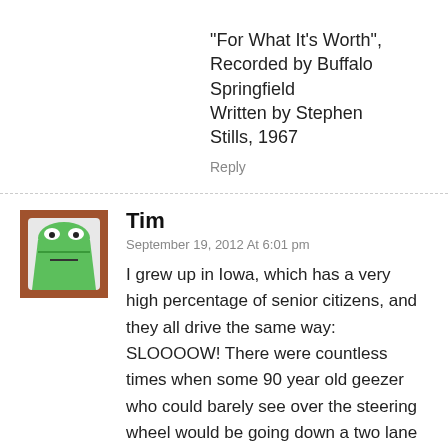“For What It’s Worth”, Recorded by Buffalo Springfield
Written by Stephen Stills, 1967
Reply
[Figure (illustration): Green cartoon frog avatar with brown background, square profile picture]
Tim
September 19, 2012 At 6:01 pm
I grew up in Iowa, which has a very high percentage of senior citizens, and they all drive the same way: SLOOOOW! There were countless times when some 90 year old geezer who could barely see over the steering wheel would be going down a two lane highway at 20 mph, forming a line of traffic behind them. Here in California, at least on mountain highways, they have turnouts. These are 50-100 ft. strips of paved siding that slower